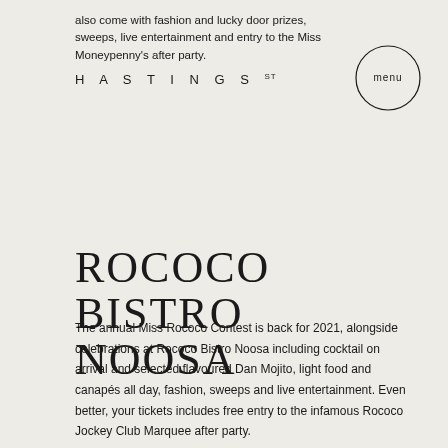also come with fashion and lucky door prizes, sweeps, live entertainment and entry to the Miss Moneypenny's after party.
HASTINGS ST
ROCOCO BISTRO NOOSA
The annual Miss Rococo Contest is back for 2021, alongside celebrations at Rococo Bistro Noosa including cocktail on arrival and selected flavoured Dan Mojito, light food and canapés all day, fashion, sweeps and live entertainment. Even better, your tickets includes free entry to the infamous Rococo Jockey Club Marquee after party.